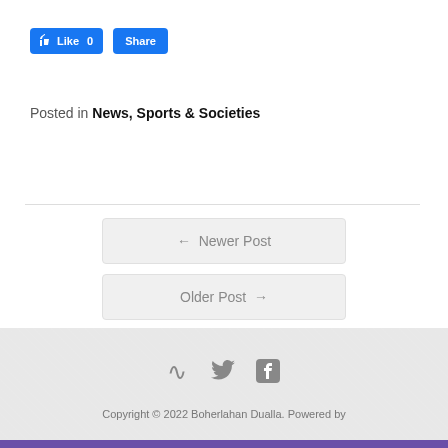[Figure (other): Facebook Like (0) and Share buttons]
Posted in News, Sports & Societies
← Newer Post
Older Post →
[Figure (other): RSS, Twitter, and Facebook social icons]
Copyright © 2022 Boherlahan Dualla. Powered by